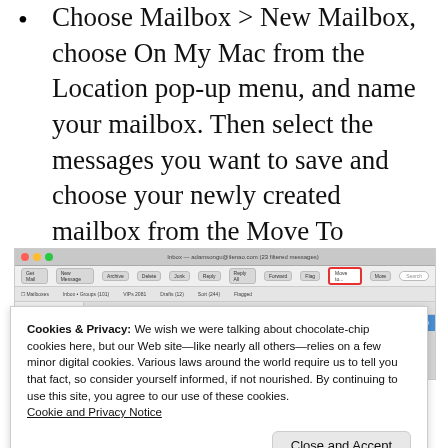Choose Mailbox > New Mailbox, choose On My Mac from the Location pop-up menu, and name your mailbox. Then select the messages you want to save and choose your newly created mailbox from the Move To button's menu in Mail's toolbar.
[Figure (screenshot): Screenshot of Apple Mail application window showing toolbar with Move To button highlighted in red, and a filtered message list view.]
Cookies & Privacy: We wish we were talking about chocolate-chip cookies here, but our Web site—like nearly all others—relies on a few minor digital cookies. Various laws around the world require us to tell you that fact, so consider yourself informed, if not nourished. By continuing to use this site, you agree to our use of these cookies. Cookie and Privacy Notice
to copy